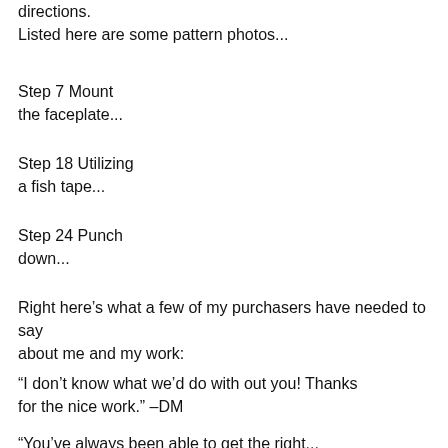directions.
Listed here are some pattern photos...
Step 7 Mount the faceplate...
Step 18 Utilizing a fish tape...
Step 24 Punch down...
Right here's what a few of my purchasers have needed to say about me and my work:
“I don’t know what we’d do with out you! Thanks for the nice work.” –DM
“You’ve always been able to get the right...